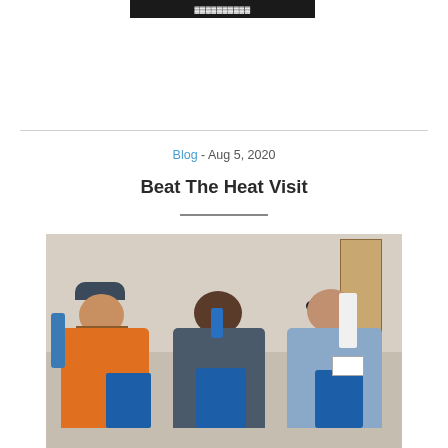Blog - Aug 5, 2020
Beat The Heat Visit
[Figure (photo): Three men standing together holding blue gift bags and items. The man on the left wears an orange shirt and holds a blue water bottle, the man in the middle wears a dark shirt, and the man on the right wears a light blue shirt and sunglasses with a white towel around his neck. They are all holding blue gift bags.]